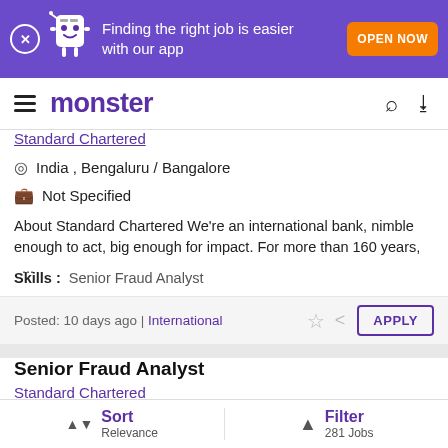[Figure (screenshot): Purple banner with mascot character, text 'Finding the right job is easier with our app' and orange 'OPEN NOW' button]
monster
Standard Chartered
India , Bengaluru / Bangalore
Not Specified
About Standard Chartered We're an international bank, nimble enough to act, big enough for impact. For more than 160 years, ...
Skills : Senior Fraud Analyst
Posted: 10 days ago | International
Senior Fraud Analyst
Standard Chartered
India, Bengaluru / Bangalore
Sort Relevance | Filter 281 Jobs